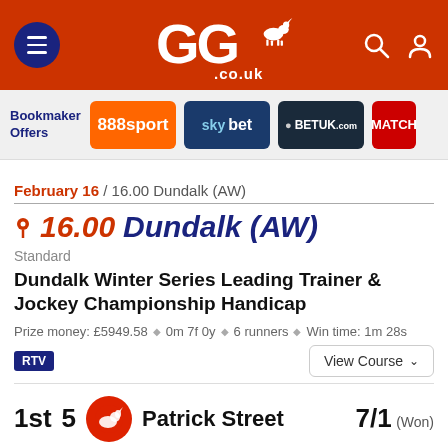[Figure (logo): GG.co.uk website header with navigation hamburger menu, GG.co.uk logo with horse racing icon, search and account icons on red background]
[Figure (infographic): Bookmaker offers bar showing 888sport, Sky Bet, BetUK.com, and Matchbook logos]
February 16 / 16.00 Dundalk (AW)
16.00   Dundalk (AW)
Standard
Dundalk Winter Series Leading Trainer & Jockey Championship Handicap
Prize money: £5949.58  ◆  0m 7f 0y  ◆  6 runners  ◆  Win time: 1m 28s
RTV
View Course
1st  5  Patrick Street  7/1 (Won)